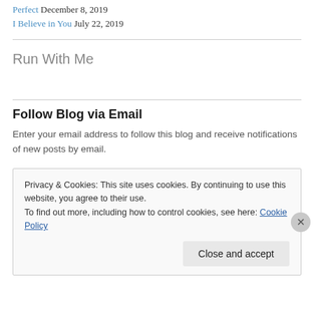Perfect December 8, 2019
I Believe in You July 22, 2019
Run With Me
Follow Blog via Email
Enter your email address to follow this blog and receive notifications of new posts by email.
Privacy & Cookies: This site uses cookies. By continuing to use this website, you agree to their use. To find out more, including how to control cookies, see here: Cookie Policy